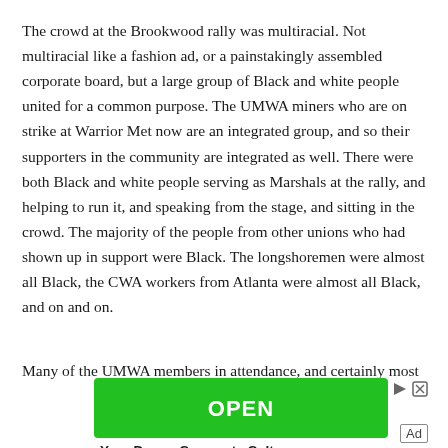The crowd at the Brookwood rally was multiracial. Not multiracial like a fashion ad, or a painstakingly assembled corporate board, but a large group of Black and white people united for a common purpose. The UMWA miners who are on strike at Warrior Met now are an integrated group, and so their supporters in the community are integrated as well. There were both Black and white people serving as Marshals at the rally, and helping to run it, and speaking from the stage, and sitting in the crowd. The majority of the people from other unions who had shown up in support were Black. The longshoremen were almost all Black, the CWA workers from Atlanta were almost all Black, and on and on.
Many of the UMWA members in attendance, and certainly most of the
[Figure (other): Green advertisement banner with 'OPEN' text in white, with navigation controls (play/close icons) in the top right, and caption 'Your Dream Corporate Culture' below]
Your Dream Corporate Culture
Ad